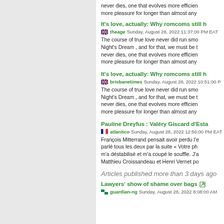never dies, one that evolves more efficiently more pleasure for longer than almost any
It's love, actually: Why romcoms still h
theage Sunday, August 28, 2022 11:37:00 PM EAT
The course of true love never did run smo Night's Dream , and for that, we must be t never dies, one that evolves more efficien more pleasure for longer than almost any
It's love, actually: Why romcoms still h
brisbanetimes Sunday, August 28, 2022 10:51:00 P
The course of true love never did run smo Night's Dream , and for that, we must be t never dies, one that evolves more efficien more pleasure for longer than almost any
Pauline Dreyfus : Valéry Giscard d'Esta
atlantico Sunday, August 28, 2022 12:56:00 PM EAT
François Mitterrand pensait avoir perdu l'e parlé tous les deux par la suite « Votre ph m'a déstabilisé et m'a coupé le souffle. J'a Matthieu Croissandeau et Henri Vernet po
Articles published more than 3 days ago
Lawyers' show of shame over bags
guardian-ng Sunday, August 28, 2022 8:08:00 AM